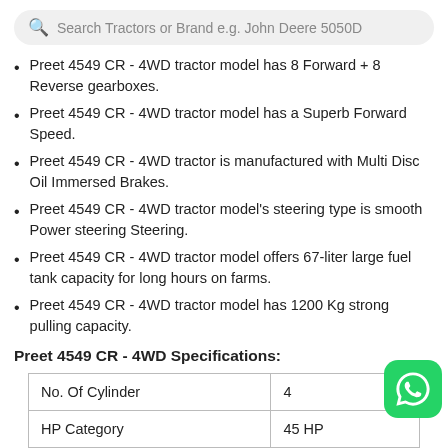Search Tractors or Brand e.g. John Deere 5050D
Preet 4549 CR - 4WD tractor model has 8 Forward + 8 Reverse gearboxes.
Preet 4549 CR - 4WD tractor model has a Superb Forward Speed.
Preet 4549 CR - 4WD tractor is manufactured with Multi Disc Oil Immersed Brakes.
Preet 4549 CR - 4WD tractor model's steering type is smooth Power steering Steering.
Preet 4549 CR - 4WD tractor model offers 67-liter large fuel tank capacity for long hours on farms.
Preet 4549 CR - 4WD tractor model has 1200 Kg strong pulling capacity.
Preet 4549 CR - 4WD Specifications:
|  |  |
| --- | --- |
| No. Of Cylinder | 4 |
| HP Category | 45 HP |
| Capacity CC | 2892 CC |